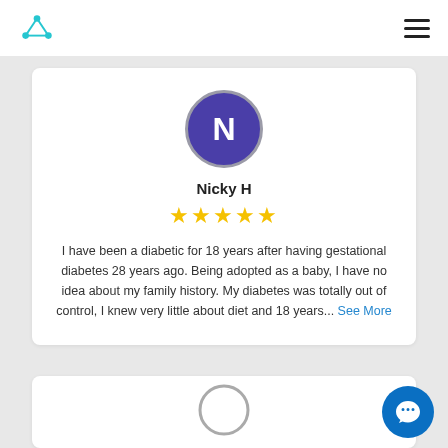[Figure (illustration): Purple circle with white letter N representing user avatar for Nicky H]
Nicky H
[Figure (other): Five yellow star rating]
I have been a diabetic for 18 years after having gestational diabetes 28 years ago. Being adopted as a baby, I have no idea about my family history. My diabetes was totally out of control, I knew very little about diet and 18 years... See More
[Figure (other): Empty grey circle avatar placeholder for second review card]
[Figure (other): Blue circular chat/support button in bottom right corner]